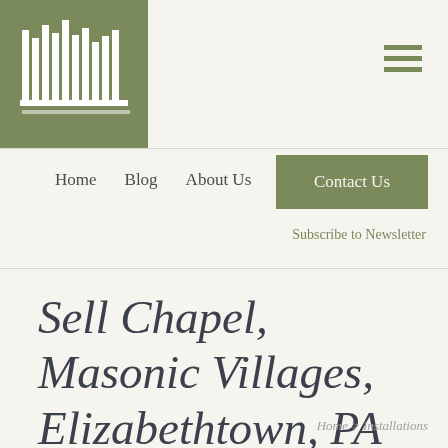Logo and navigation header
Home  Blog  About Us
Contact Us
Subscribe to Newsletter
Sell Chapel, Masonic Villages, Elizabethtown, PA
Home > Installations